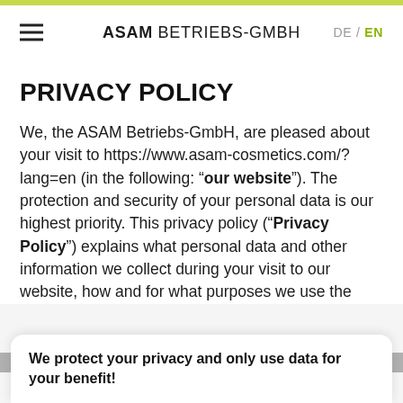ASAM BETRIEBS-GMBH  DE / EN
PRIVACY POLICY
We, the ASAM Betriebs-GmbH, are pleased about your visit to https://www.asam-cosmetics.com/?lang=en (in the following: “our website”). The protection and security of your personal data is our highest priority. This privacy policy (“Privacy Policy”) explains what personal data and other information we collect during your visit to our website, how and for what purposes we use the
We protect your privacy and only use data for your benefit!